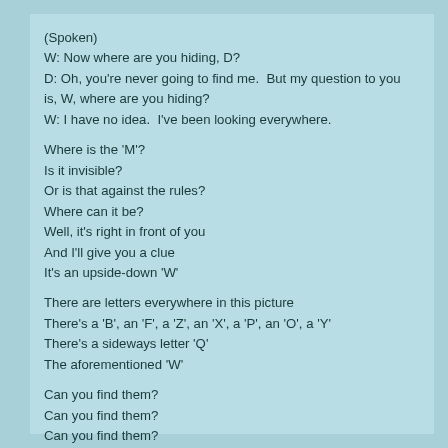(Spoken)
W: Now where are you hiding, D?
D: Oh, you're never going to find me.  But my question to you is, W, where are you hiding?
W: I have no idea.  I've been looking everywhere.
Where is the 'M'?
Is it invisible?
Or is that against the rules?
Where can it be?
Well, it's right in front of you
And I'll give you a clue
It's an upside-down 'W'
There are letters everywhere in this picture
There's a 'B', an 'F', a 'Z', an 'X', a 'P', an 'O', a 'Y'
There's a sideways letter 'Q'
The aforementioned 'W'
Can you find them?
Can you find them?
Can you find them?
Can you find them?
Can you find them?
Can you find them?
Can you find them?
Here they are